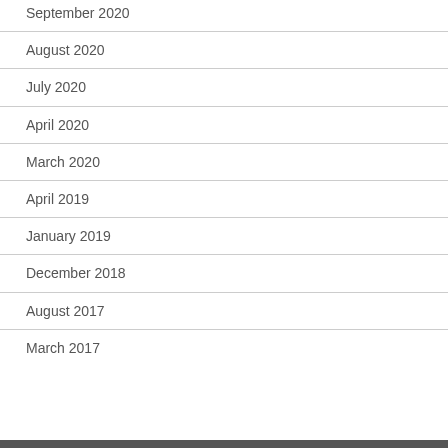September 2020
August 2020
July 2020
April 2020
March 2020
April 2019
January 2019
December 2018
August 2017
March 2017